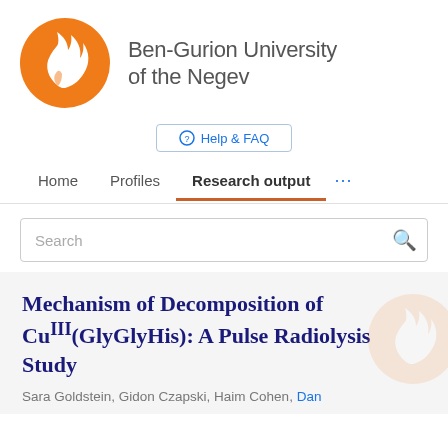[Figure (logo): Ben-Gurion University of the Negev orange circular logo with flame/person symbol in white]
Ben-Gurion University of the Negev
Help & FAQ
Home   Profiles   Research output   ...
Search
Mechanism of Decomposition of CuIII(GlyGlyHis): A Pulse Radiolysis Study
Sara Goldstein, Gidon Czapski, Haim Cohen, Dan